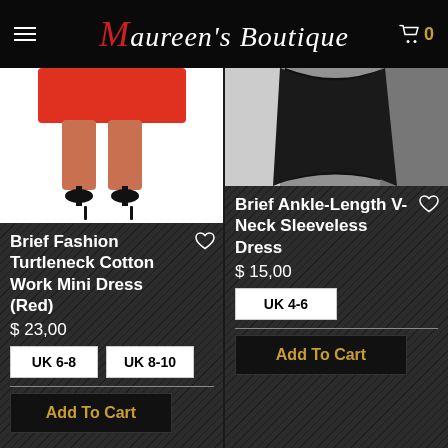Maureen's Boutique
[Figure (photo): Lower half of model wearing red mini dress with black heels, white background]
Brief Fashion Turtleneck Cotton Work Mini Dress (Red)
$ 23,00
UK 6-8
UK 8-10
Add To Cart
[Figure (photo): Lower half of model wearing black ankle-length dress, grey background]
Brief Ankle-Length V-Neck Sleeveless Dress
$ 15,00
UK 4-6
Add To Cart